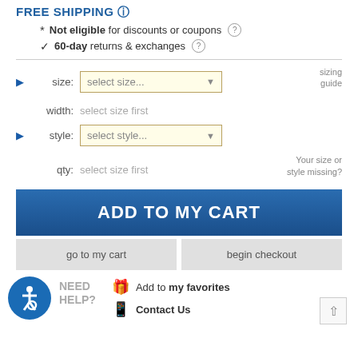FREE SHIPPING
* Not eligible for discounts or coupons
✓ 60-day returns & exchanges
size: select size...   sizing guide
width: select size first
style: select style...
qty: select size first   Your size or style missing?
ADD TO MY CART
go to my cart
begin checkout
Add to my favorites
Contact Us
NEED HELP?